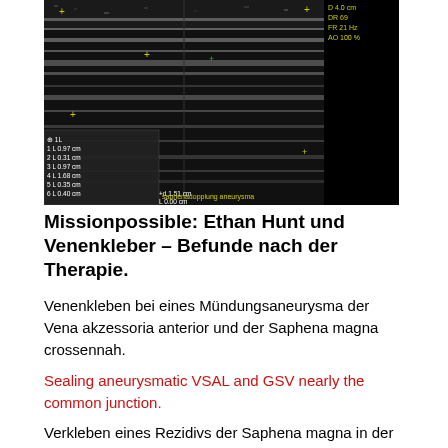[Figure (photo): Ultrasound image showing vascular measurements with measurement overlay panel on left side showing: 1L 0.97cm, 2L 0.31cm, 3L 0.97cm, 4L 1.68cm, 5L 0.35cm, 6L 0.40cm, +d 1.51cm, L 0.00cm. Equipment parameters visible: D 4.0cm, DR 69, FR 21Hz, AO 100%. Yellow text at bottom reads 'saphenadopplung aneurysma'.]
Missionpossible: Ethan Hunt und Venenkleber – Befunde nach der Therapie.
Venenkleben bei eines Mündungsaneurysma der Vena akzessoria anterior und der Saphena magna crossennah.
Sealing aneurysmatic VSAL and GSV nearly the common junction.
Verkleben eines Rezidivs der Saphena magna in der